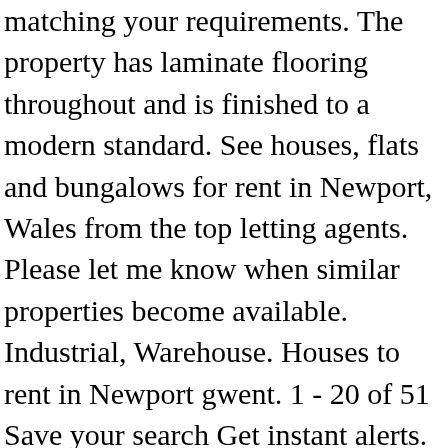matching your requirements. The property has laminate flooring throughout and is finished to a modern standard. See houses, flats and bungalows for rent in Newport, Wales from the top letting agents. Please let me know when similar properties become available. Industrial, Warehouse. Houses to rent in Newport gwent. 1 - 20 of 51 Save your search Get instant alerts. commercial properties for rent in Newport, Wales. Cardiff, south wales and bristol.Central location with direct access to the motorway.Newport. Find the widest range of